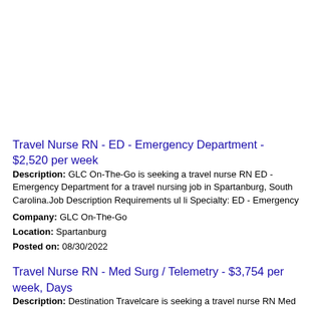Travel Nurse RN - ED - Emergency Department - $2,520 per week
Description: GLC On-The-Go is seeking a travel nurse RN ED - Emergency Department for a travel nursing job in Spartanburg, South Carolina.Job Description Requirements ul li Specialty: ED - Emergency
Company: GLC On-The-Go
Location: Spartanburg
Posted on: 08/30/2022
Travel Nurse RN - Med Surg / Telemetry - $3,754 per week, Days
Description: Destination Travelcare is seeking a travel nurse RN Med